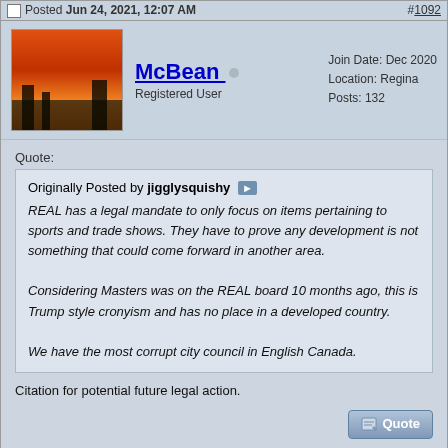Posted Jun 24, 2021, 12:07 AM  #1092
McBean  Registered User  Join Date: Dec 2020  Location: Regina  Posts: 132
Quote:
Originally Posted by jigglysquishy
REAL has a legal mandate to only focus on items pertaining to sports and trade shows. They have to prove any development is not something that could come forward in another area.

Considering Masters was on the REAL board 10 months ago, this is Trump style cronyism and has no place in a developed country.

We have the most corrupt city council in English Canada.
Citation for potential future legal action.
Posted Jun 24, 2021, 12:11 AM  #1093
Join Date: Jul 2010
Location: Saskatchewan